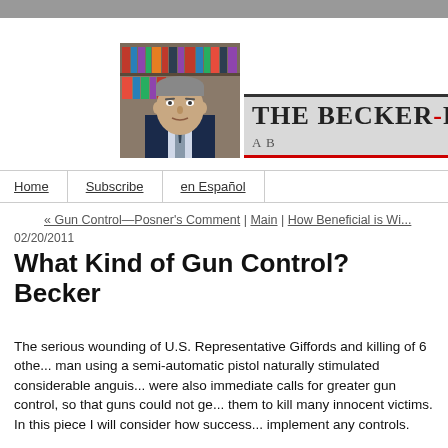[Figure (photo): Portrait photo of a middle-aged man in a suit with bookshelves in background, appears to be part of The Becker-Posner blog header]
THE BECKER-POSN... A B...
Home | Subscribe | en Español
« Gun Control—Posner's Comment | Main | How Beneficial is Wi...
02/20/2011
What Kind of Gun Control? Becker
The serious wounding of U.S. Representative Giffords and killing of 6 othe... man using a semi-automatic pistol naturally stimulated considerable anguis... were also immediate calls for greater gun control, so that guns could not ge... them to kill many innocent victims. In this piece I will consider how success... implement any controls.